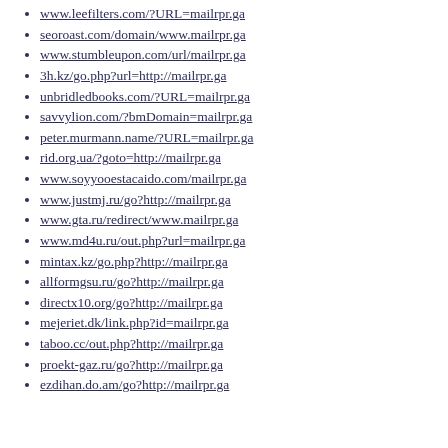www.leefilters.com/?URL=mailrpr.ga
seoroast.com/domain/www.mailrpr.ga
www.stumbleupon.com/url/mailrpr.ga
3h.kz/go.php?url=http://mailrpr.ga
unbridledbooks.com/?URL=mailrpr.ga
savvylion.com/?bmDomain=mailrpr.ga
peter.murmann.name/?URL=mailrpr.ga
rid.org.ua/?goto=http://mailrpr.ga
www.soyyooestacaido.com/mailrpr.ga
www.justmj.ru/go?http://mailrpr.ga
www.gta.ru/redirect/www.mailrpr.ga
www.md4u.ru/out.php?url=mailrpr.ga
mintax.kz/go.php?http://mailrpr.ga
allformgsu.ru/go?http://mailrpr.ga
directx10.org/go?http://mailrpr.ga
mejeriet.dk/link.php?id=mailrpr.ga
taboo.cc/out.php?http://mailrpr.ga
proekt-gaz.ru/go?http://mailrpr.ga
ezdihan.do.am/go?http://mailrpr.ga